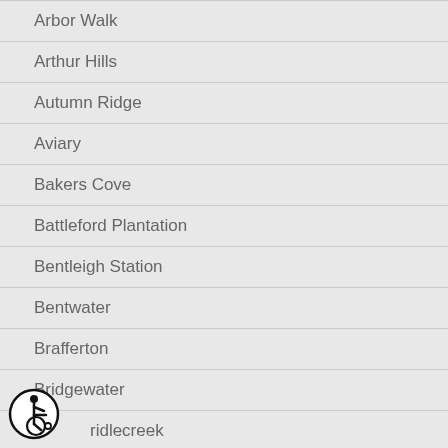Arbor Walk
Arthur Hills
Autumn Ridge
Aviary
Bakers Cove
Battleford Plantation
Bentleigh Station
Bentwater
Brafferton
Bridgewater
Bridlecreek
[Figure (illustration): Wheelchair accessibility icon — a circle with a person in a wheelchair symbol inside]